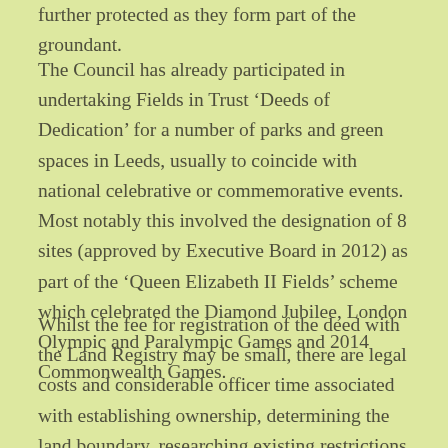further protected as they form part of the groundant.
The Council has already participated in undertaking Fields in Trust ‘Deeds of Dedication’ for a number of parks and green spaces in Leeds, usually to coincide with national celebrative or commemorative events. Most notably this involved the designation of 8 sites (approved by Executive Board in 2012) as part of the ‘Queen Elizabeth II Fields’ scheme which celebrated the Diamond Jubilee, London Olympic and Paralympic Games and 2014 Commonwealth Games.
Whilst the fee for registration of the deed with the Land Registry may be small, there are legal costs and considerable officer time associated with establishing ownership, determining the land boundary, researching existing restrictions or covenants and then dealing with